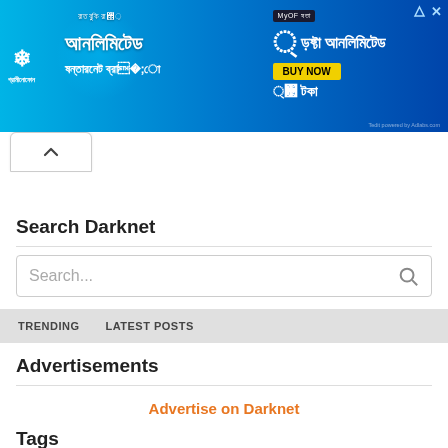[Figure (screenshot): Blue advertisement banner for a Bangladeshi telecom (Grameenphone/similar) promoting unlimited internet: Bengali text for 3 hours unlimited at 38 Taka, with BUY NOW button. Has close and skip icons top right.]
[Figure (other): Collapse/chevron-up button tab below the ad banner]
Search Darknet
Search...
TRENDING   LATEST POSTS
Advertisements
Advertise on Darknet
Tags